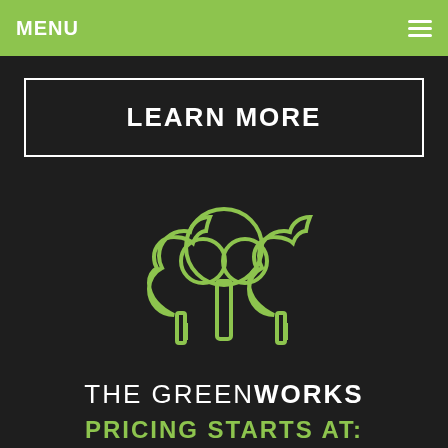MENU
LEARN MORE
[Figure (illustration): Green outline icon of three trees (a stylized forest/park illustration) on a dark background]
THE GREENWORKS
PRICING STARTS AT: